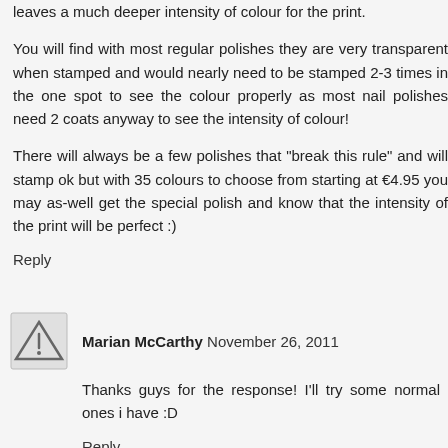leaves a much deeper intensity of colour for the print.
You will find with most regular polishes they are very transparent when stamped and would nearly need to be stamped 2-3 times in the one spot to see the colour properly as most nail polishes need 2 coats anyway to see the intensity of colour!
There will always be a few polishes that "break this rule" and will stamp ok but with 35 colours to choose from starting at €4.95 you may as-well get the special polish and know that the intensity of the print will be perfect :)
Reply
Marian McCarthy November 26, 2011
Thanks guys for the response! I'll try some normal ones i have :D
Reply